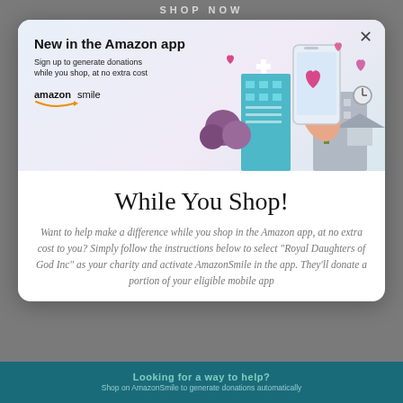SHOP NOW
[Figure (illustration): Amazon Smile app promotional banner showing a hand holding a smartphone with a heart on the screen, illustrated buildings and trees in the background, with text 'New in the Amazon app - Sign up to generate donations while you shop, at no extra cost' and the AmazonSmile logo]
While You Shop!
Want to help make a difference while you shop in the Amazon app, at no extra cost to you? Simply follow the instructions below to select "Royal Daughters of God Inc" as your charity and activate AmazonSmile in the app. They'll donate a portion of your eligible mobile app
Looking for a way to help?